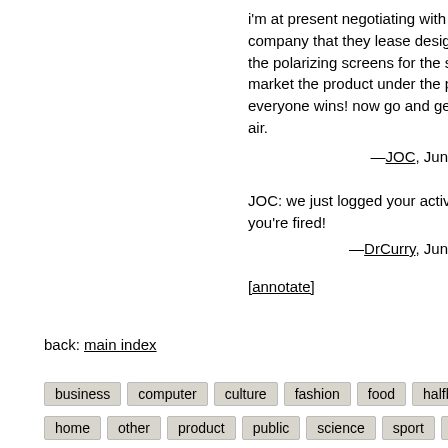i'm at present negotiating with the polaroid company that they lease design & produce the polarizing screens for the screens & market the product under the polaroid brand. everyone wins! now go and get some fresh air.
—JOC, Jun
JOC: we just logged your activity firewall - you're fired!
—DrCurry, Jun
[annotate]
back: main index
business
computer
culture
fashion
food
halfbakery
home
other
product
public
science
sport
vehicle